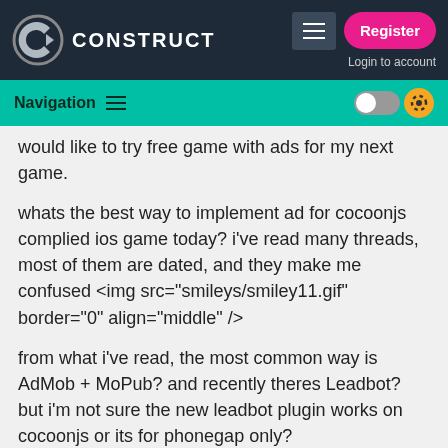CONSTRUCT — Register / Login to account
Navigation
would like to try free game with ads for my next game.
whats the best way to implement ad for cocoonjs complied ios game today? i've read many threads, most of them are dated, and they make me confused <img src="smileys/smiley11.gif" border="0" align="middle" />
from what i've read, the most common way is AdMob + MoPub? and recently theres Leadbot? but i'm not sure the new leadbot plugin works on cocoonjs or its for phonegap only?